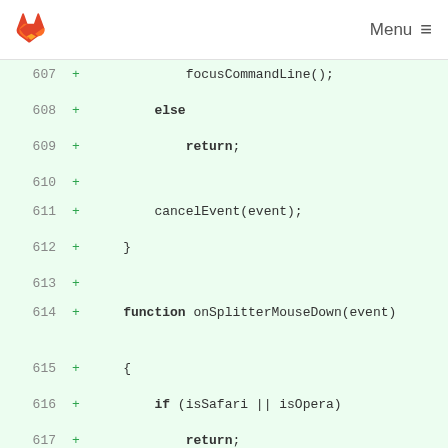GitLab | Menu
Code diff viewer showing lines 607-622 of a JavaScript file with added lines (marked with +). Lines include: focusCommandLine();, else, return;, cancelEvent(event);, }, function onSplitterMouseDown(event), {, if (isSafari || isOpera), return;, addEvent(document, "mousemove", onSplitterMouseMove);, addEvent(document, "mouseup", onSplitterMouseUp);, for (var i = 0; i < frames.length; ++i)